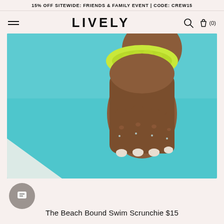15% OFF SITEWIDE: FRIENDS & FAMILY EVENT | CODE: CREW15
LIVELY
[Figure (photo): Close-up photo of a hand with long white-tipped nails against a teal/turquoise background. A bright yellow-green scrunchie is worn on the wrist. Part of a white surface is visible in the lower left corner.]
The Beach Bound Swim Scrunchie $15